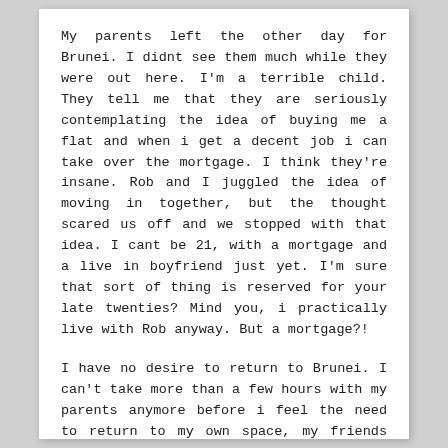My parents left the other day for Brunei. I didnt see them much while they were out here. I'm a terrible child. They tell me that they are seriously contemplating the idea of buying me a flat and when i get a decent job i can take over the mortgage. I think they're insane. Rob and I juggled the idea of moving in together, but the thought scared us off and we stopped with that idea. I cant be 21, with a mortgage and a live in boyfriend just yet. I'm sure that sort of thing is reserved for your late twenties? Mind you, i practically live with Rob anyway. But a mortgage?!
I have no desire to return to Brunei. I can't take more than a few hours with my parents anymore before i feel the need to return to my own space, my friends have left Brunei anyway, and the thought of